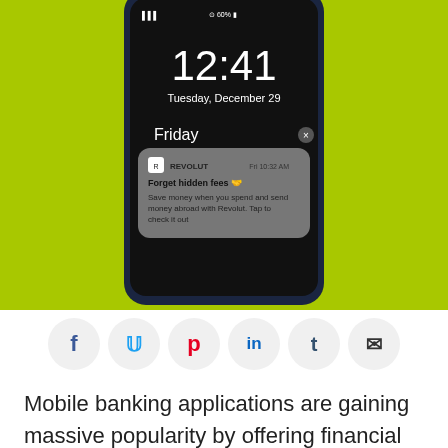[Figure (screenshot): Smartphone lock screen showing time 12:41, Tuesday December 29, with a Revolut push notification on Friday at 10:32 AM reading 'Forget hidden fees. Save money when you spend and send money abroad with Revolut. Tap to check it out'. The phone is displayed on a bright lime-green background.]
[Figure (infographic): Row of 6 social sharing buttons on circular light-gray backgrounds: Facebook (f), Twitter (bird), Pinterest (p), LinkedIn (in), Tumblr (t), Email (envelope)]
Mobile banking applications are gaining massive popularity by offering financial services through...